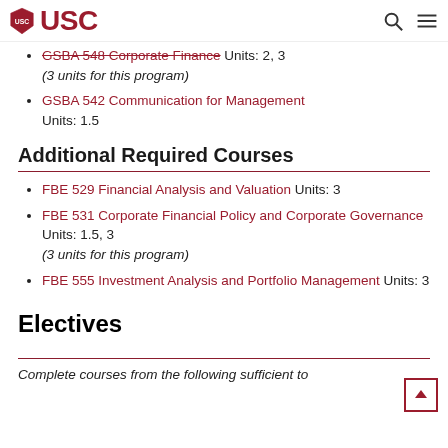USC
GSBA 548 Corporate Finance Units: 2, 3 (3 units for this program)
GSBA 542 Communication for Management Units: 1.5
Additional Required Courses
FBE 529 Financial Analysis and Valuation Units: 3
FBE 531 Corporate Financial Policy and Corporate Governance Units: 1.5, 3 (3 units for this program)
FBE 555 Investment Analysis and Portfolio Management Units: 3
Electives
Complete courses from the following sufficient to